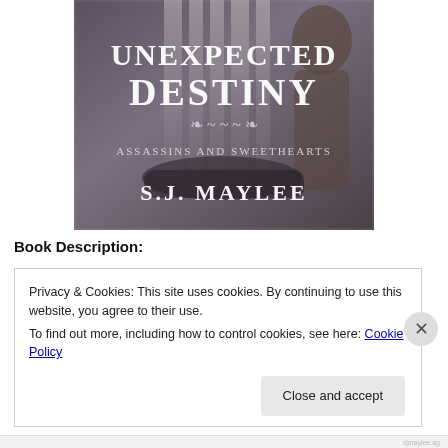[Figure (illustration): Book cover for 'Unexpected Destiny' from the Assassins and Sweethearts series by S.J. Maylee. Dark romantic cover with a figure and a bathtub visible in the background, with decorative flourish text styling.]
Book Description:
Privacy & Cookies: This site uses cookies. By continuing to use this website, you agree to their use.
To find out more, including how to control cookies, see here: Cookie Policy
Close and accept